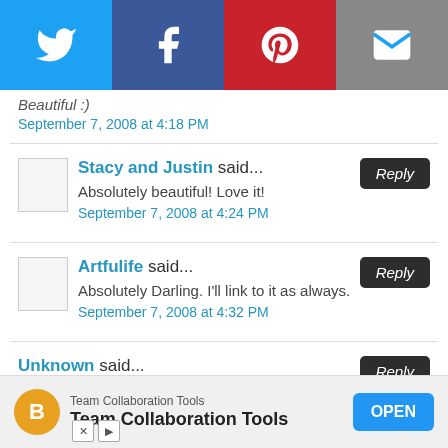[Figure (infographic): Social share bar with Twitter (blue), Facebook (dark blue), Pinterest (red), and Email (gray) buttons]
Beautiful :)
September 7, 2008 at 4:18 PM
Stacy and Justin said...
Absolutely beautiful! Love it!
September 7, 2008 at 4:24 PM
Artfulife said...
Absolutely Darling. I'll link to it as always.
September 7, 2008 at 4:32 PM
Unknown said...
[Figure (infographic): Advertisement banner: Team Collaboration Tools with OPEN button]